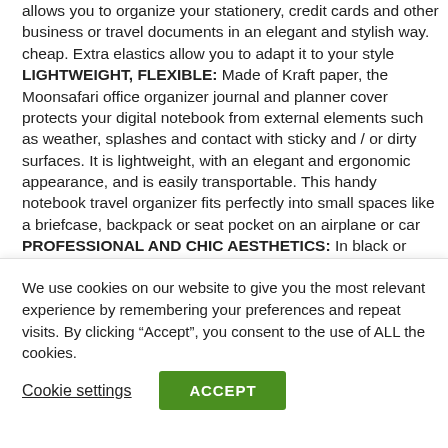allows you to organize your stationery, credit cards and other business or travel documents in an elegant and stylish way. cheap. Extra elastics allow you to adapt it to your style LIGHTWEIGHT, FLEXIBLE: Made of Kraft paper, the Moonsafari office organizer journal and planner cover protects your digital notebook from external elements such as weather, splashes and contact with sticky and / or dirty surfaces. It is lightweight, with an elegant and ergonomic appearance, and is easily transportable. This handy notebook travel organizer fits perfectly into small spaces like a briefcase, backpack or seat pocket on an airplane or car PROFESSIONAL AND CHIC AESTHETICS: In black or brown and with a gray felt lining, this Rocketbook A5 notebook or day planner case is popular with men and women. With its sleek, slim look, small internal
We use cookies on our website to give you the most relevant experience by remembering your preferences and repeat visits. By clicking “Accept”, you consent to the use of ALL the cookies.
Cookie settings
ACCEPT